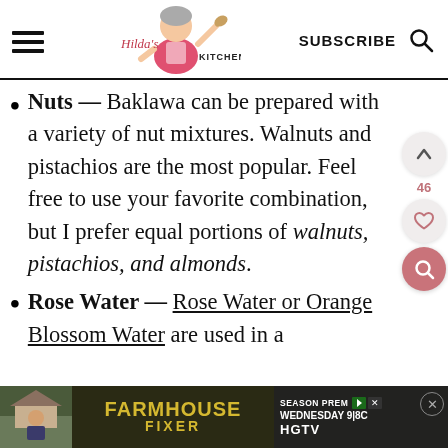Hilda's Kitchen Blog | SUBSCRIBE
Nuts — Baklawa can be prepared with a variety of nut mixtures. Walnuts and pistachios are the most popular. Feel free to use your favorite combination, but I prefer equal portions of walnuts, pistachios, and almonds.
Rose Water — Rose Water or Orange Blossom Water are used in a
[Figure (infographic): Farmhouse Fixer HGTV Season Premiere Wednesday 9|8C advertisement banner at the bottom of the page]